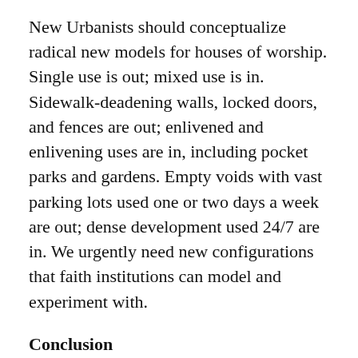New Urbanists should conceptualize radical new models for houses of worship. Single use is out; mixed use is in. Sidewalk-deadening walls, locked doors, and fences are out; enlivened and enlivening uses are in, including pocket parks and gardens. Empty voids with vast parking lots used one or two days a week are out; dense development used 24/7 are in. We urgently need new configurations that faith institutions can model and experiment with.
Conclusion
What will happen to the 15 church parcels in Rome's small downtown may determine the